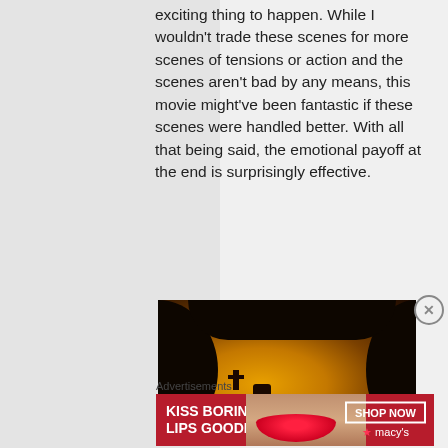exciting thing to happen. While I wouldn't trade these scenes for more scenes of tensions or action and the scenes aren't bad by any means, this movie might've been fantastic if these scenes were handled better. With all that being said, the emotional payoff at the end is surprisingly effective.
[Figure (photo): Cinematic still from a movie showing a silhouette of a person and a cross seen through an archway with a warm, foggy golden-orange light in the background]
Advertisements
[Figure (photo): Advertisement banner for Macy's lipstick product. Red background with bold white text 'KISS BORING LIPS GOODBYE', a woman's lips in the center, and 'SHOP NOW' button with Macy's star logo on the right.]